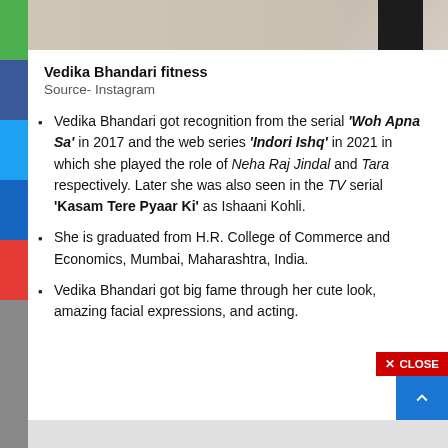[Figure (photo): Partial photo of Vedika Bhandari in black outfit against light background]
Vedika Bhandari fitness
Source- Instagram
Vedika Bhandari got recognition from the serial 'Woh Apna Sa' in 2017 and the web series 'Indori Ishq' in 2021 in which she played the role of Neha Raj Jindal and Tara respectively. Later she was also seen in the TV serial 'Kasam Tere Pyaar Ki' as Ishaani Kohli.
She is graduated from H.R. College of Commerce and Economics, Mumbai, Maharashtra, India.
Vedika Bhandari got big fame through her cute look, amazing facial expressions, and acting.